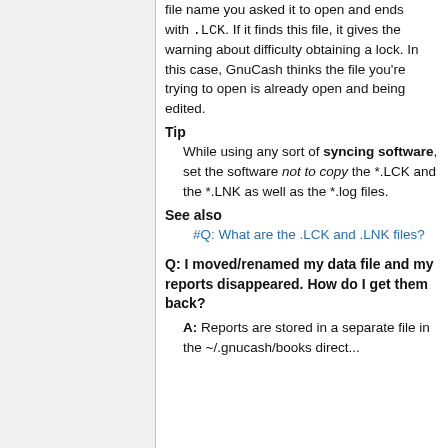file name you asked it to open and ends with .LCK. If it finds this file, it gives the warning about difficulty obtaining a lock. In this case, GnuCash thinks the file you're trying to open is already open and being edited.
Tip
While using any sort of syncing software, set the software not to copy the *.LCK and the *.LNK as well as the *.log files.
See also
#Q: What are the .LCK and .LNK files?
Q: I moved/renamed my data file and my reports disappeared. How do I get them back?
A: Reports are stored in a separate file in the ~/.gnucash/books directory...